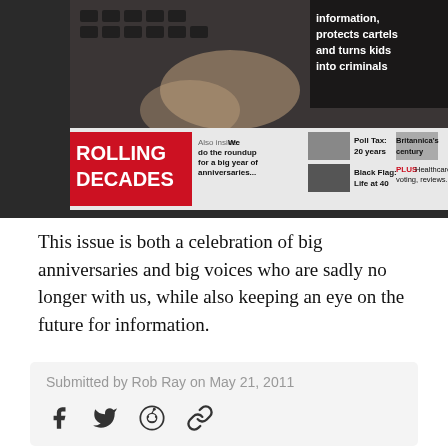[Figure (photo): Magazine cover showing hands at a keyboard with text about 'Rolling Decades', 'Poll Tax: 20 years', 'Black Flag: Life at 40', 'Britannica's century', 'PLUS Healthcare, voting, reviews...' and 'Also inside: We do the roundup for a big year of anniversaries...']
This issue is both a celebration of big anniversaries and big voices who are sadly no longer with us, while also keeping an eye on the future for information.
Submitted by Rob Ray on May 21, 2011
[Figure (infographic): Social sharing icons: Facebook, Twitter, Reddit, Link]
ALSO IN THIS ISSUE
Cover story: Why parliament has lumbered us with